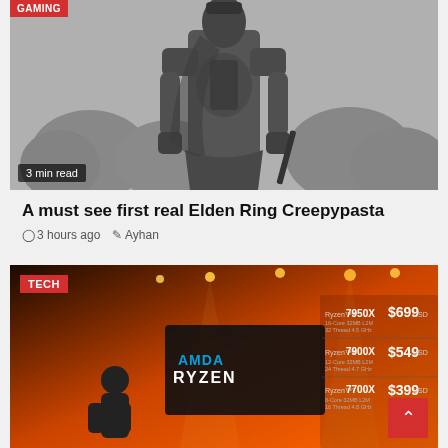[Figure (photo): Grayscale photo of an armored warrior character from Elden Ring standing outdoors with trees in background. A red badge at top-left and '3 min read' overlay at bottom-left.]
A must see first real Elden Ring Creepypasta
3 hours ago   Ayhan
[Figure (photo): Photo of AMD Ryzen product presentation stage with orange/red background. A presenter stands in front of a large AMD Ryzen sign. Price list visible: Ryzen 9 7950X $699 USD, Ryzen 9 7900X $549 USD, Ryzen 7 7700X $399 USD. TECH badge at top-left.]